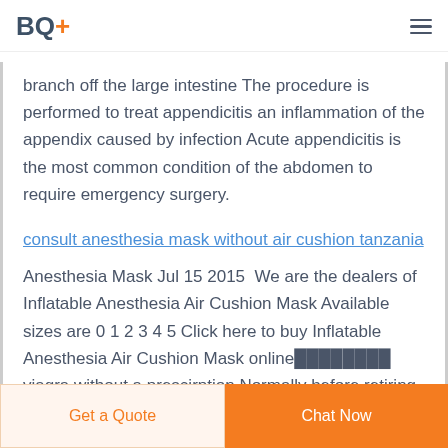BQ+
branch off the large intestine The procedure is performed to treat appendicitis an inflammation of the appendix caused by infection Acute appendicitis is the most common condition of the abdomen to require emergency surgery.
consult anesthesia mask without air cushion tanzania
Anesthesia Mask Jul 15 2015  We are the dealers of Inflatable Anesthesia Air Cushion Mask Available sizes are 0 1 2 3 4 5 Click here to buy Inflatable Anesthesia Air Cushion Mask online░░░░░░░░ viagra without a prescirption Normally before retiring for the